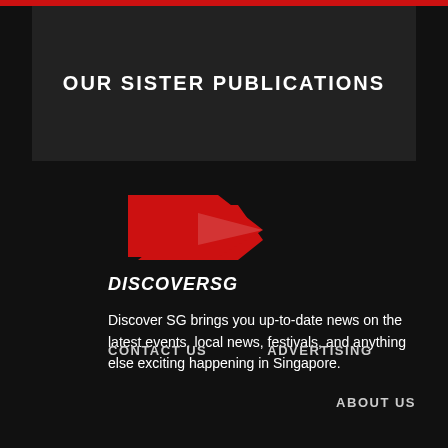OUR SISTER PUBLICATIONS
[Figure (logo): DiscoverSG logo: red arrow/chevron shape pointing right with italic bold text DISCOVERSG below]
Discover SG brings you up-to-date news on the latest events, local news, festivals, and anything else exciting happening in Singapore.
CONTACT US
ADVERTISING
ABOUT US